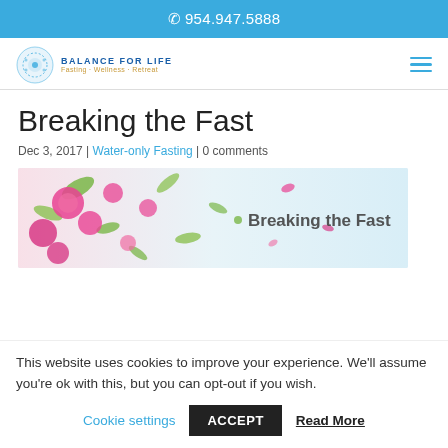954.947.5888
[Figure (logo): Balance for Life logo with circular icon and text 'BALANCE FOR LIFE' with tagline below]
Breaking the Fast
Dec 3, 2017 | Water-only Fasting | 0 comments
[Figure (photo): Banner image with pink roses and green leaves on light background with text 'Breaking the Fast']
This website uses cookies to improve your experience. We'll assume you're ok with this, but you can opt-out if you wish.
Cookie settings  ACCEPT  Read More